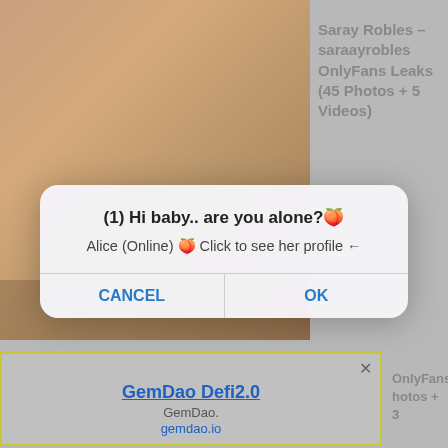[Figure (screenshot): Screenshot of a webpage showing an adult content site with a popup dialog and an advertisement overlay. The dialog reads '(1) Hi baby.. are you alone?🍑' with 'Alice (Online) 🍑 Click to see her profile ←' and Cancel/OK buttons. Below is a GemDao Defi2.0 advertisement with yellow-green border and a close button.]
Saray Robles – saraayrobles OnlyFans Leaks (45 Photos + 5 Videos)
(1) Hi baby.. are you alone?🍑
Alice (Online) 🍑 Click to see her profile ←
CANCEL
OK
GemDao Defi2.0
GemDao.
gemdao.io
OnlyFans hotos + 3